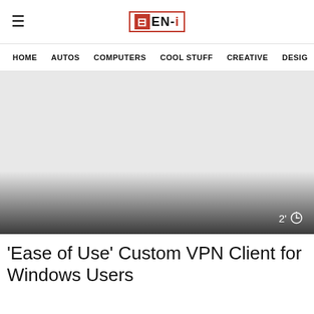≡  ⊡EN-i
HOME   AUTOS   COMPUTERS   COOL STUFF   CREATIVE   DESIG
[Figure (photo): Large hero image placeholder with light gray background, dark gradient overlay at the bottom, and a '2' timer indicator in the bottom right corner.]
'Ease of Use' Custom VPN Client for Windows Users